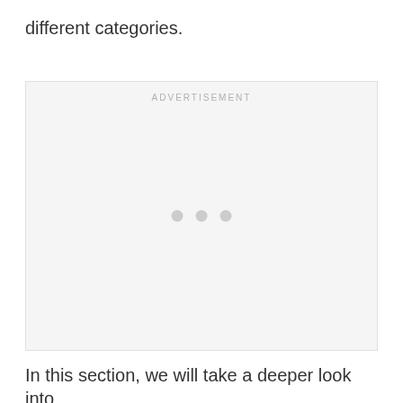different categories.
[Figure (other): Advertisement placeholder box with 'ADVERTISEMENT' label at top and three grey dots in the center]
In this section, we will take a deeper look into